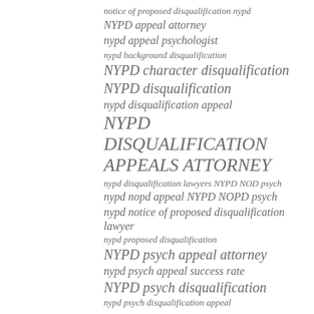notice of proposed disqualification nypd
NYPD appeal attorney
nypd appeal psychologist
nypd background disqualification
NYPD character disqualification
NYPD disqualification
nypd disqualification appeal
NYPD DISQUALIFICATION APPEALS ATTORNEY
nypd disqualification lawyers NYPD NOD psych
nypd nopd appeal NYPD NOPD psych
nypd notice of proposed disqualification lawyer
nypd proposed disqualification
NYPD psych appeal attorney
nypd psych appeal success rate
NYPD psych disqualification
nypd psych disqualification appeal